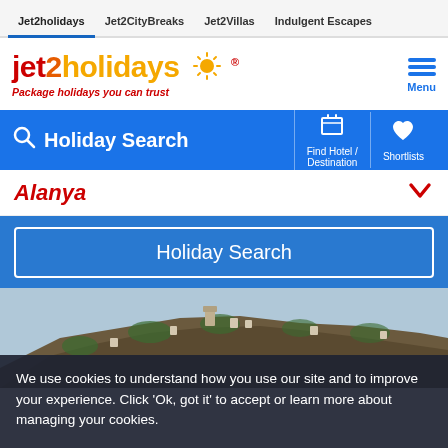Jet2holidays | Jet2CityBreaks | Jet2Villas | Indulgent Escapes
[Figure (logo): Jet2holidays logo with sun graphic and tagline 'Package holidays you can trust']
Holiday Search | Find Hotel / Destination | Shortlists
Alanya
Holiday Search
[Figure (photo): Landscape photo of a hillside in Alanya with buildings and Mediterranean vegetation]
We use cookies to understand how you use our site and to improve your experience. Click 'Ok, got it' to accept or learn more about managing your cookies.